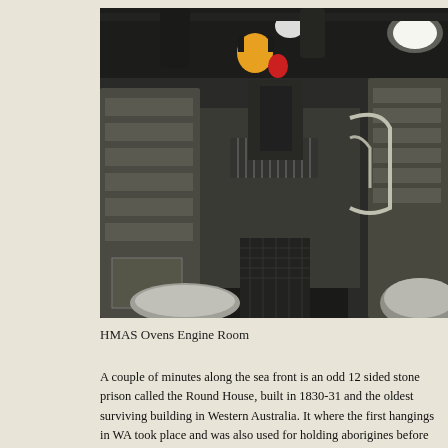[Figure (photo): Interior photograph of the HMAS Ovens Engine Room, showing a cramped machinery space with large diesel engines, pipes, ducts, yellow safety equipment hanging from the ceiling, metal walkways, and bright overhead lighting.]
HMAS Ovens Engine Room
A couple of minutes along the sea front is an odd 12 sided stone prison called the Round House, built in 1830-31 and the oldest surviving building in Western Australia. It where the first hangings in WA took place and was also used for holding aborigines before they were taken to Rottnest. It